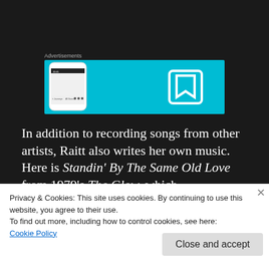[Figure (screenshot): Advertisement banner showing a mobile phone screenshot and a bookmark icon on a cyan/blue background]
In addition to recording songs from other artists, Raitt also writes her own music. Here is Standin' By The Same Old Love from 1979's The Glow, which prominently features Raitt
Privacy & Cookies: This site uses cookies. By continuing to use this website, you agree to their use.
To find out more, including how to control cookies, see here:
Cookie Policy
Close and accept